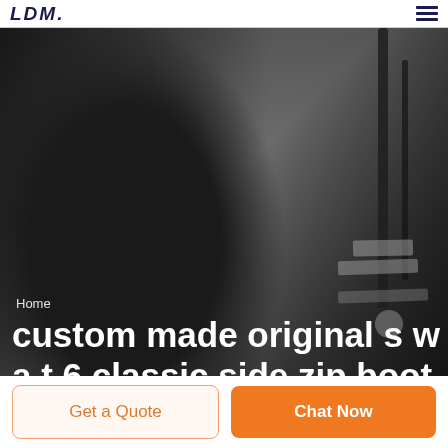LDM
[Figure (photo): Grayscale photo of a man in a dark suit, moody dark background with vertical elements on the right side]
Home
custom made original s w a t 6 classic side zip boot
Get a Quote
Chat Now